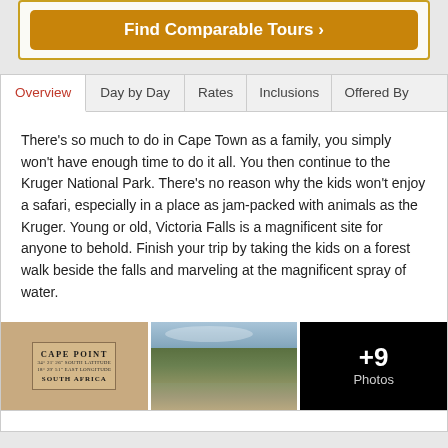[Figure (other): Orange 'Find Comparable Tours' button inside a bordered box]
Overview
Day by Day
Rates
Inclusions
Offered By
There's so much to do in Cape Town as a family, you simply won't have enough time to do it all. You then continue to the Kruger National Park. There's no reason why the kids won't enjoy a safari, especially in a place as jam-packed with animals as the Kruger. Young or old, Victoria Falls is a magnificent site for anyone to behold. Finish your trip by taking the kids on a forest walk beside the falls and marveling at the magnificent spray of water.
[Figure (photo): Three travel photos: Cape Point sign in South Africa, coastal cliff scenic view, and a black box showing +9 Photos]